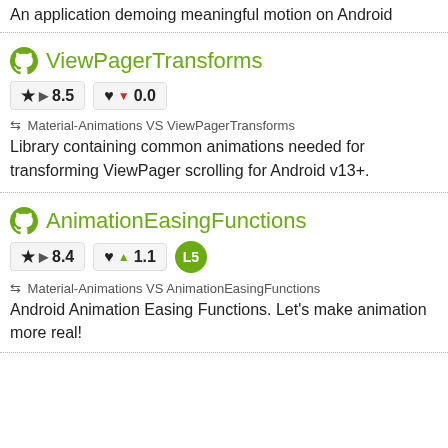An application demoing meaningful motion on Android
ViewPagerTransforms
★ ▶ 8.5   ♥ ▼ 0.0
⇆ Material-Animations VS ViewPagerTransforms
Library containing common animations needed for transforming ViewPager scrolling for Android v13+.
AnimationEasingFunctions
★ ▶ 8.4   ♥ ▲ 1.1   L5
⇆ Material-Animations VS AnimationEasingFunctions
Android Animation Easing Functions. Let's make animation more real!